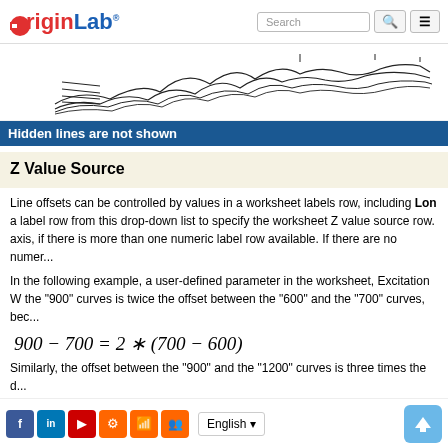OriginLab
[Figure (continuous-plot): Wavy stacked line chart showing multiple offset curves, partially cut off on the right side.]
Hidden lines are not shown
Z Value Source
Line offsets can be controlled by values in a worksheet labels row, including Long Name, Units, Comments, or Parameters. Select a label row from this drop-down list to specify the worksheet Z value source row. The row values are used to scale along the Z axis, if there is more than one numeric label row available. If there are no numer...
In the following example, a user-defined parameter in the worksheet, Excitation Wavelength, takes values 600, 700, 900, and 1200. The offset between the "900" curves is twice the offset between the "600" and the "700" curves, bec...
Similarly, the offset between the "900" and the "1200" curves is three times the d...
Facebook LinkedIn YouTube Settings RSS Group | English | Back to top